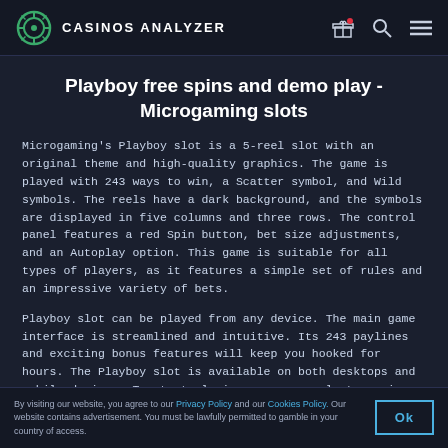CASINOS ANALYZER
Playboy free spins and demo play - Microgaming slots
Microgaming's Playboy slot is a 5-reel slot with an original theme and high-quality graphics. The game is played with 243 ways to win, a Scatter symbol, and Wild symbols. The reels have a dark background, and the symbols are displayed in five columns and three rows. The control panel features a red Spin button, bet size adjustments, and an Autoplay option. This game is suitable for all types of players, as it features a simple set of rules and an impressive variety of bets.
Playboy slot can be played from any device. The main game interface is streamlined and intuitive. Its 243 paylines and exciting bonus features will keep you hooked for hours. The Playboy slot is available on both desktops and mobile devices. To start playing, you can select a coin denomination of 0.01 to 25. You can also choose to have the game auto-play for you. The Playboy slot can be played on mobile devices.
If you'd prefer to play Playboy for real money, you can visit any
By visiting our website, you agree to our Privacy Policy and our Cookies Policy. Our website contains advertisement. You must be lawfully permitted to gamble in your country of access. Ok